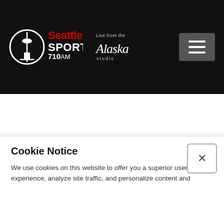[Figure (logo): Seattle Sports 710AM logo with needle tower icon in circle, red Seattle text, white SPORTS and 710AM text, beside Alaska Airlines 'Live from the Alaska studio' text. Dark background header with hamburger menu button on right.]
AP
Associated Press
Cookie Notice
We use cookies on this website to offer you a superior user experience, analyze site traffic, and personalize content and